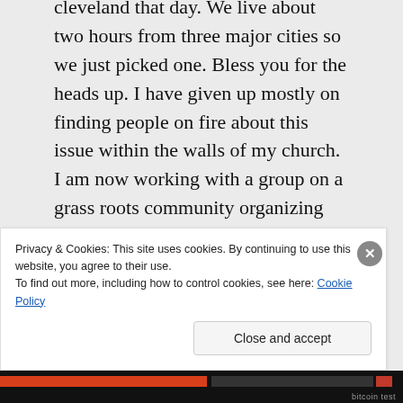cleveland that day. We live about two hours from three major cities so we just picked one. Bless you for the heads up. I have given up mostly on finding people on fire about this issue within the walls of my church. I am now working with a group on a grass roots community organizing effort to help our small community while also spreading the
Privacy & Cookies: This site uses cookies. By continuing to use this website, you agree to their use.
To find out more, including how to control cookies, see here: Cookie Policy